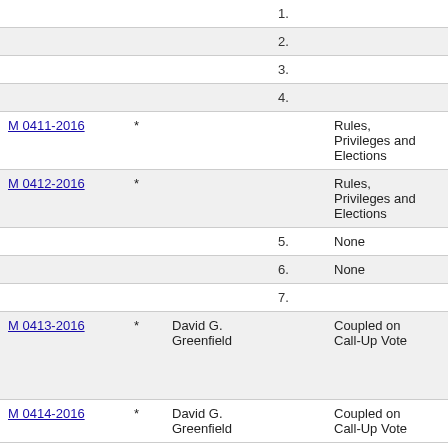| ID | * | Sponsor | Num | Committee | Description |
| --- | --- | --- | --- | --- | --- |
|  |  |  | 1. |  |  |
|  |  |  | 2. |  |  |
|  |  |  | 3. |  |  |
|  |  |  | 4. |  |  |
| M 0411-2016 | * |  |  | Rules, Privileges and Elections | Larry D Service Comm |
| M 0412-2016 | * |  |  | Rules, Privileges and Elections | Allen C Civil S Comm |
|  |  |  | 5. | None |  |
|  |  |  | 6. | None |  |
|  |  |  | 7. |  |  |
| M 0413-2016 | * | David G. Greenfield |  | Coupled on Call-Up Vote | Zoning Kent A Brookl (C1601 N1601 |
| M 0414-2016 | * | David G. Greenfield |  | Coupled on Call-Up Vote | Zoning Kent |